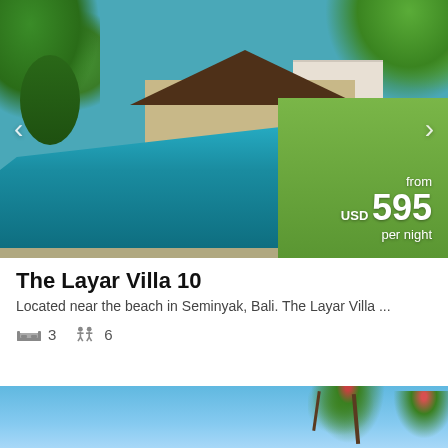[Figure (photo): Tropical villa with large pool surrounded by lush greenery in Seminyak, Bali. Price overlay shows 'from USD 595 per night'. Navigation arrows on left and right.]
The Layar Villa 10
Located near the beach in Seminyak, Bali. The Layar Villa ...
3  6
[Figure (photo): Partial view of another villa listing with tropical foliage and blue sky visible at bottom of page.]